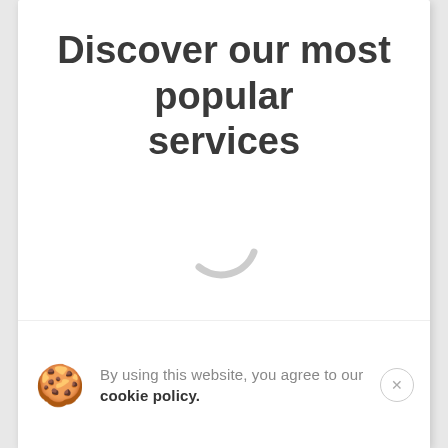Discover our most popular services
[Figure (other): Loading spinner - a grey arc/circle indicating content is loading]
By using this website, you agree to our cookie policy.